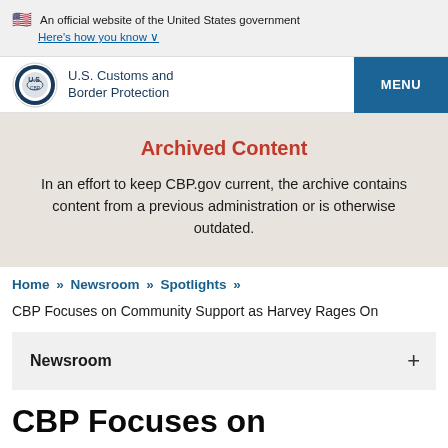An official website of the United States government
Here's how you know ∨
[Figure (logo): U.S. Customs and Border Protection seal/logo with MENU button]
Archived Content
In an effort to keep CBP.gov current, the archive contains content from a previous administration or is otherwise outdated.
Home » Newsroom » Spotlights »
CBP Focuses on Community Support as Harvey Rages On
Newsroom
CBP Focuses on